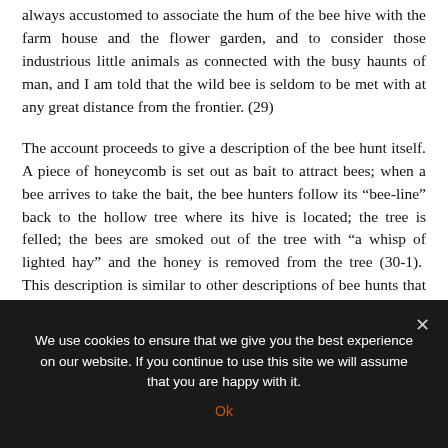always accustomed to associate the hum of the bee hive with the farm house and the flower garden, and to consider those industrious little animals as connected with the busy haunts of man, and I am told that the wild bee is seldom to be met with at any great distance from the frontier.  (29)
The account proceeds to give a description of the bee hunt itself. A piece of honeycomb is set out as bait to attract bees; when a bee arrives to take the bait, the bee hunters follow its “bee-line” back to the hollow tree where its hive is located; the tree is felled; the bees are smoked out of the tree with “a whisp of lighted hay” and the honey is removed from the tree (30-1).  This description is similar to other descriptions of bee hunts that make their way into
We use cookies to ensure that we give you the best experience on our website. If you continue to use this site we will assume that you are happy with it.
Ok